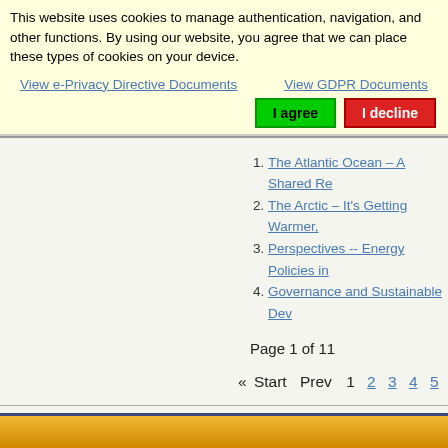This website uses cookies to manage authentication, navigation, and other functions. By using our website, you agree that we can place these types of cookies on your device.
View e-Privacy Directive Documents
View GDPR Documents
I agree
I decline
1. The Atlantic Ocean – A Shared Re
2. The Arctic – It's Getting Warmer,
3. Perspectives -- Energy Policies in
4. Governance and Sustainable Dev
Page 1 of 11
« Start   Prev   1   2   3   4   5